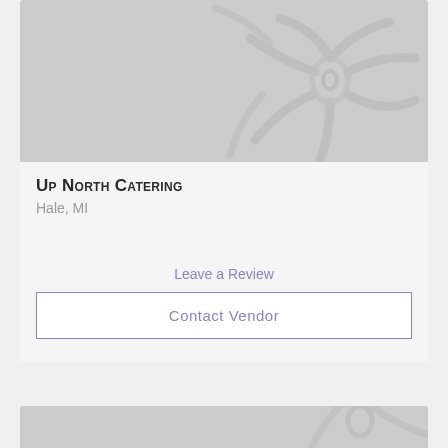[Figure (illustration): Gray placeholder card image with a decorative floral/snowflake watermark pattern in light gray]
Up North Catering
Hale, MI
Leave a Review
Contact Vendor
[Figure (illustration): Partial view of a second gray placeholder card image with decorative pattern at bottom of page]